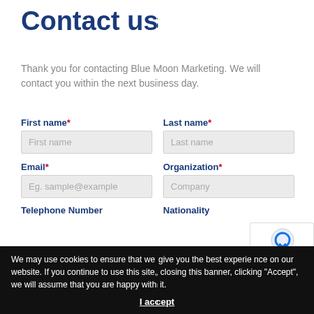Contact us
Thank you for contacting Blue Moon Marketing. We will contact you within the next business day.
First name* (input field placeholder: First name)
Last name* (input field placeholder: Last name)
Email* (input field placeholder: Eg. sample@example)
Organization* (input field placeholder: Company)
Telephone Number
Nationality
We may use cookies to ensure that we give you the best experience on our website. If you continue to use this site, closing this banner, clicking "Accept", we will assume that you are happy with it.
I accept